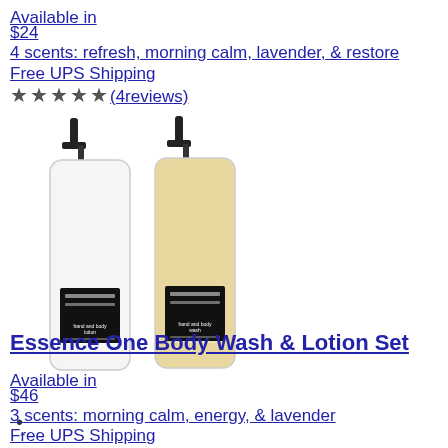Available in
$24
4 scents: refresh, morning calm, lavender, & restore
Free UPS Shipping
★★★★★(4reviews)
[Figure (photo): Two pump dispenser bottles of hand and body lotion/wash products side by side, one white and one amber/yellow colored, with black labels and black pump tops]
•
-
Essence One Body Wash & Lotion Set
Available in
$46
3 scents: morning calm, energy, & lavender
Free UPS Shipping
There are no ratings